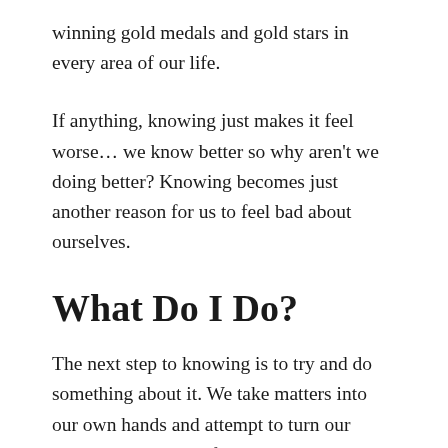winning gold medals and gold stars in every area of our life.
If anything, knowing just makes it feel worse… we know better so why aren't we doing better? Knowing becomes just another reason for us to feel bad about ourselves.
What Do I Do?
The next step to knowing is to try and do something about it. We take matters into our own hands and attempt to turn our sugar-loving switch from on to